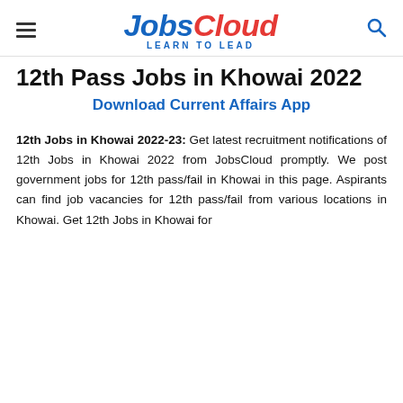JobsCloud LEARN TO LEAD
12th Pass Jobs in Khowai 2022
Download Current Affairs App
12th Jobs in Khowai 2022-23: Get latest recruitment notifications of 12th Jobs in Khowai 2022 from JobsCloud promptly. We post government jobs for 12th pass/fail in Khowai in this page. Aspirants can find job vacancies for 12th pass/fail from various locations in Khowai. Get 12th Jobs in Khowai for